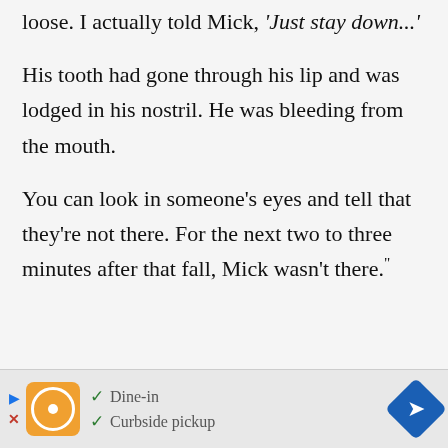loose. I actually told Mick, 'Just stay down...'
His tooth had gone through his lip and was lodged in his nostril. He was bleeding from the mouth.
You can look in someone's eyes and tell that they're not there. For the next two to three minutes after that fall, Mick wasn't there."
[Figure (other): Advertisement bar with restaurant logo, dine-in and curbside pickup checkmarks, and navigation arrow]